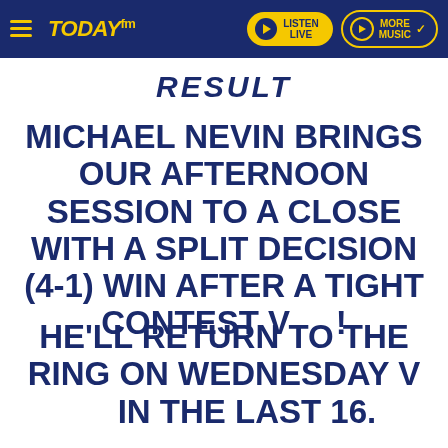[Figure (logo): Today FM website header with hamburger menu, Today FM logo in yellow italic text, Listen Live button in yellow, and More Music button with yellow outline]
RESULT
MICHAEL NEVIN BRINGS OUR AFTERNOON SESSION TO A CLOSE WITH A SPLIT DECISION (4-1) WIN AFTER A TIGHT CONTEST V !
HE'LL RETURN TO THE RING ON WEDNESDAY V IN THE LAST 16.